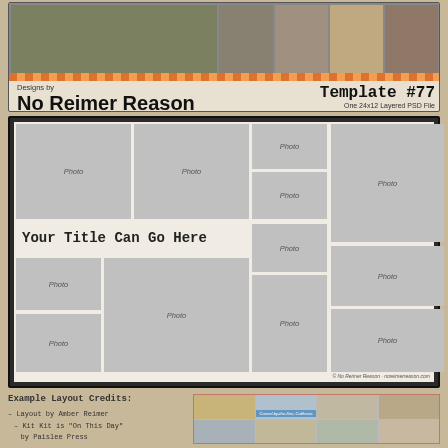[Figure (photo): Top banner showing example scrapbook photos with autumn/pumpkin theme in a strip]
Designs by
No Reimer Reason
Template #77
One 24x12 Layered PSD File
noreimerreason.com
[Figure (schematic): Scrapbook template layout preview showing 11 photo placeholder boxes labeled 'Photo' and a title area labeled 'Your Title Can Go Here']
Example Layout Credits:
– Layout by Amber Reimer
– Kit Kit is "On This Day" by Paislee Press
[Figure (photo): Example layout photos showing beach scenes at Carmel-by-the-Sen, California with family and children playing in the sand and surf]